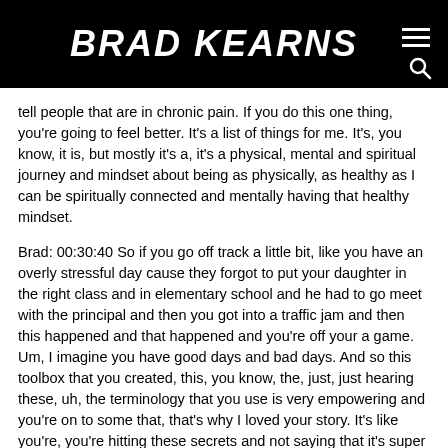BRAD KEARNS
tell people that are in chronic pain. If you do this one thing, you're going to feel better. It's a list of things for me. It's, you know, it is, but mostly it's a, it's a physical, mental and spiritual journey and mindset about being as physically, as healthy as I can be spiritually connected and mentally having that healthy mindset.
Brad: 00:30:40 So if you go off track a little bit, like you have an overly stressful day cause they forgot to put your daughter in the right class and in elementary school and he had to go meet with the principal and then you got into a traffic jam and then this happened and that happened and you're off your a game. Um, I imagine you have good days and bad days. And so this toolbox that you created, this, you know, the, just, just hearing these, uh, the terminology that you use is very empowering and you're on to some that, that's why I loved your story. It's like you're, you're hitting these secrets and not saying that it's super easy and it's fun and I'm better now like we watch in the movies, but that you're, you're into this